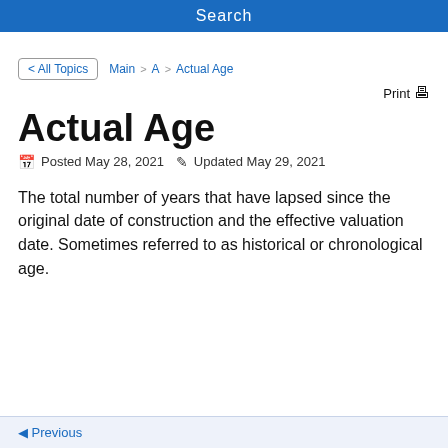Search
< All Topics   Main > A > Actual Age
Print 🖨
Actual Age
📅 Posted May 28, 2021  ✏ Updated May 29, 2021
The total number of years that have lapsed since the original date of construction and the effective valuation date. Sometimes referred to as historical or chronological age.
◄ Previous